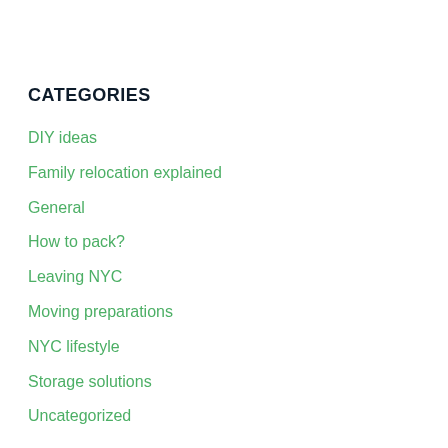CATEGORIES
DIY ideas
Family relocation explained
General
How to pack?
Leaving NYC
Moving preparations
NYC lifestyle
Storage solutions
Uncategorized